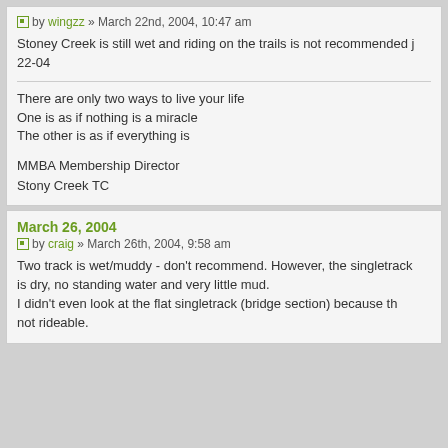by wingzz » March 22nd, 2004, 10:47 am
Stoney Creek is still wet and riding on the trails is not recommended j 22-04
There are only two ways to live your life
One is as if nothing is a miracle
The other is as if everything is

MMBA Membership Director
Stony Creek TC
March 26, 2004
by craig » March 26th, 2004, 9:58 am
Two track is wet/muddy - don't recommend. However, the singletrack is dry, no standing water and very little mud.
I didn't even look at the flat singletrack (bridge section) because th not rideable.